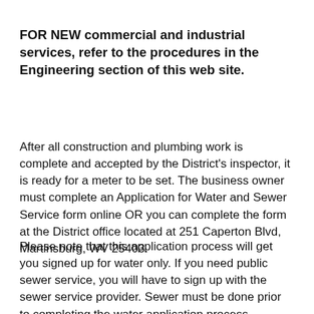FOR NEW commercial and industrial services, refer to the procedures in the Engineering section of this web site.
After all construction and plumbing work is complete and accepted by the District's inspector, it is ready for a meter to be set. The business owner must complete an Application for Water and Sewer Service form online OR you can complete the form at the District office located at 251 Caperton Blvd, Martinsburg, WV 25403.
Please note that this application process will get you signed up for water only. If you need public sewer service, you will have to sign up with the sewer service provider. Sewer must be done prior to completing the water application process.